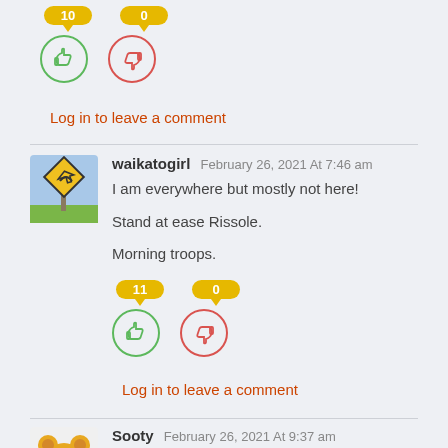[Figure (other): Thumbs up vote button with count 10 and thumbs down vote button with count 0]
Log in to leave a comment
[Figure (photo): Road sign avatar for waikatogirl]
waikatogirl February 26, 2021 At 7:46 am
I am everywhere but mostly not here!

Stand at ease Rissole.

Morning troops.
[Figure (other): Thumbs up vote button with count 11 and thumbs down vote button with count 0]
Log in to leave a comment
[Figure (photo): Teddy bear avatar for Sooty]
Sooty February 26, 2021 At 9:37 am